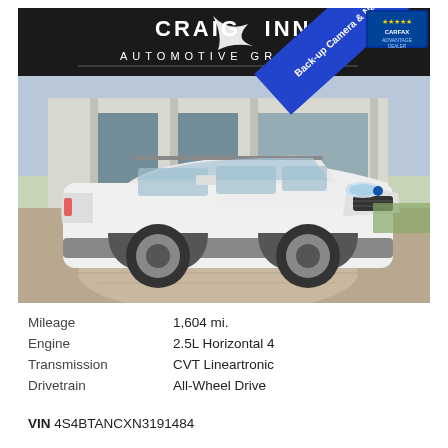[Figure (photo): White Subaru Outback SUV parked on decorative brick driveway in front of a building, with Craig Zinn Automotive Group dealer logo/header at top, blue banner overlay reading 'Back-up Camera & Navigation', and CARFAX Advantage Dealer badge in upper right corner.]
| Mileage | 1,604 mi. |
| Engine | 2.5L Horizontal 4 |
| Transmission | CVT Lineartronic |
| Drivetrain | All-Wheel Drive |
VIN 4S4BTANCXN3191484